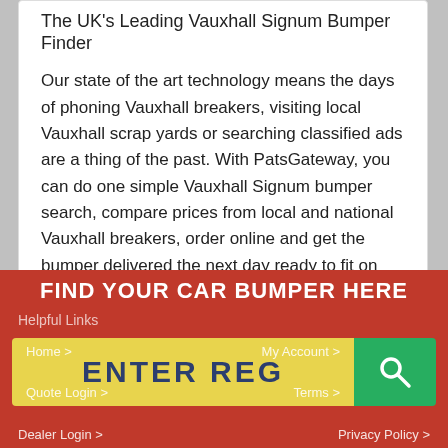The UK's Leading Vauxhall Signum Bumper Finder
Our state of the art technology means the days of phoning Vauxhall breakers, visiting local Vauxhall scrap yards or searching classified ads are a thing of the past. With PatsGateway, you can do one simple Vauxhall Signum bumper search, compare prices from local and national Vauxhall breakers, order online and get the bumper delivered the next day ready to fit on your Vauxhall Signum
FIND YOUR CAR BUMPER HERE
Helpful Links
Home > | My Account > | Quote Login > | Terms > | Dealer Login > | Privacy Policy >
ENTER REG